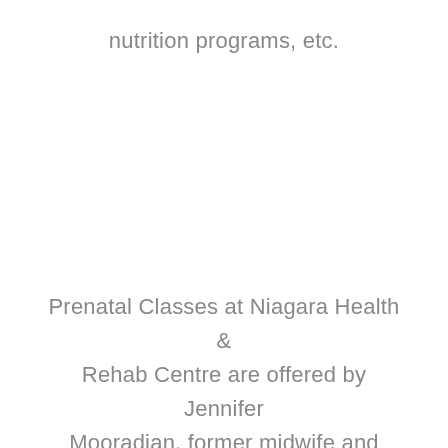nutrition programs, etc.
Prenatal Classes at Niagara Health & Rehab Centre are offered by Jennifer Mooradian, former midwife and owner of Baby Basics Prenatal Classes. Information is evidence based, supplemented with clinical